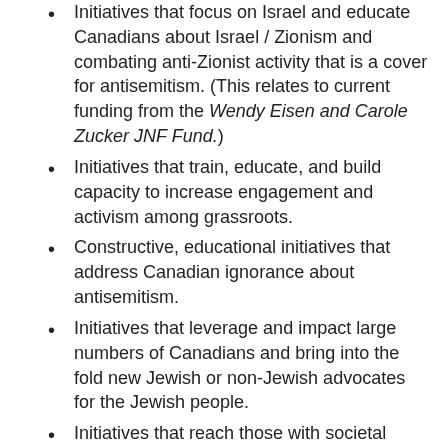Initiatives that focus on Israel and educate Canadians about Israel / Zionism and combating anti-Zionist activity that is a cover for antisemitism. (This relates to current funding from the Wendy Eisen and Carole Zucker JNF Fund.)
Initiatives that train, educate, and build capacity to increase engagement and activism among grassroots.
Constructive, educational initiatives that address Canadian ignorance about antisemitism.
Initiatives that leverage and impact large numbers of Canadians and bring into the fold new Jewish or non-Jewish advocates for the Jewish people.
Initiatives that reach those with societal influence and have measurable impact.
Initiatives that harness the collective energies of multiple organizations and their expertise.
Initiatives that confront and diminish antisemitism and create a healthier and safer environment for Jews and all Canadians.